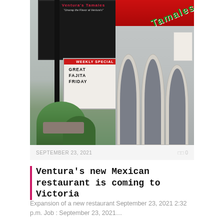[Figure (photo): Photo of Ventura's Tamales restaurant exterior. Left side shows a black billboard sign with red 'WEEKLY SPECIAL' header and text reading 'GREAT FAJITA FRIDAY'. Billboard includes tagline 'Unwrap the Flavor at Ventura's'. Right side shows the restaurant building facade with white arched columns and a green and red 'Tamales' sign on the roof overhang.]
SEPTEMBER 23, 2021    0 0
Ventura's new Mexican restaurant is coming to Victoria
Expansion of a new restaurant September 23, 2021 2:32 p.m. Job : September 23, 2021…